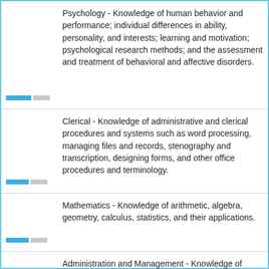Psychology - Knowledge of human behavior and performance; individual differences in ability, personality, and interests; learning and motivation; psychological research methods; and the assessment and treatment of behavioral and affective disorders.
Clerical - Knowledge of administrative and clerical procedures and systems such as word processing, managing files and records, stenography and transcription, designing forms, and other office procedures and terminology.
Mathematics - Knowledge of arithmetic, algebra, geometry, calculus, statistics, and their applications.
Administration and Management - Knowledge of business and management principles involved in strategic planning, resource allocation, human resources modeling, leadership technique, production methods, and coordination of people and resources.